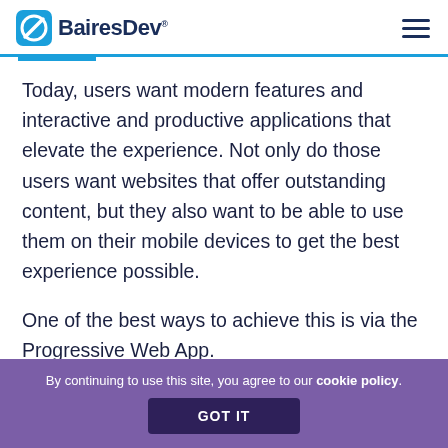BairesDev
Today, users want modern features and interactive and productive applications that elevate the experience. Not only do those users want websites that offer outstanding content, but they also want to be able to use them on their mobile devices to get the best experience possible.
One of the best ways to achieve this is via the Progressive Web App.
By continuing to use this site, you agree to our cookie policy. GOT IT